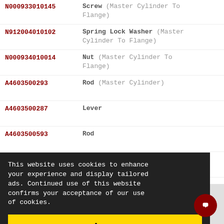N000933010145 — Screw (Master Cylinder To Flange)
N912004010102 — Spring Lock Washer (Master Cylinder To Flange)
N000934010014 — Nut (Master Cylinder To Flange)
A4603500293 — Rod (Master Cylinder)
A4603500287 — Lever
A4603500593 — Rod
A4603505193 — Rod
A1102910750 — Bushing
A4609930510 — Spring (Shifting Rod)
N912001008000 — Securing (Rod To Lever)
A4609970077 — Handle (Shifting Rod)
This website uses cookies to enhance your experience and display tailored ads. Continued use of this website confirms your acceptance of our use of cookies.
Agree